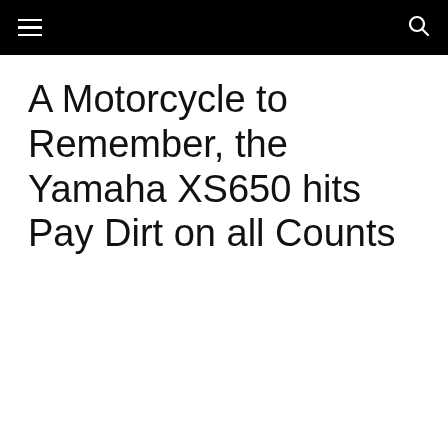A Motorcycle to Remember, the Yamaha XS650 hits Pay Dirt on all Counts